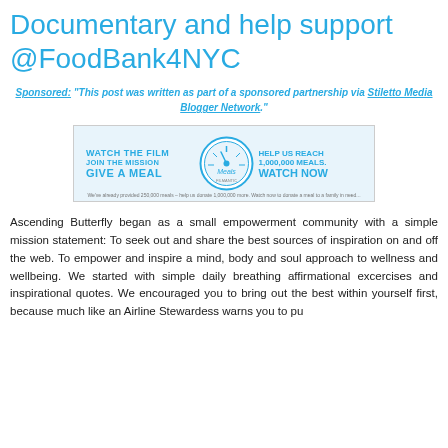Documentary and help support @FoodBank4NYC
Sponsored: "This post was written as part of a sponsored partnership via Stiletto Media Blogger Network."
[Figure (infographic): Banner ad showing 'Watch the Film, Join the Mission, Give a Meal' on the left, a circular Meals logo/gauge in the center, and 'Help Us Reach 1,000,000 Meals. Watch Now' on the right, with smaller text at the bottom about providing 250,000 meals.]
Ascending Butterfly began as a small empowerment community with a simple mission statement: To seek out and share the best sources of inspiration on and off the web. To empower and inspire a mind, body and soul approach to wellness and wellbeing. We started with simple daily breathing affirmational excercises and inspirational quotes. We encouraged you to bring out the best within yourself first, because much like an Airline Stewardess warns you to pu